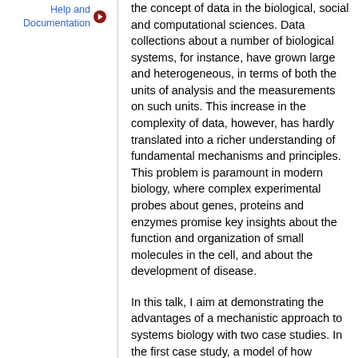Help and Documentation
the concept of data in the biological, social and computational sciences. Data collections about a number of biological systems, for instance, have grown large and heterogeneous, in terms of both the units of analysis and the measurements on such units. This increase in the complexity of data, however, has hardly translated into a richer understanding of fundamental mechanisms and principles. This problem is paramount in modern biology, where complex experimental probes about genes, proteins and enzymes promise key insights about the function and organization of small molecules in the cell, and about the development of disease.
In this talk, I aim at demonstrating the advantages of a mechanistic approach to systems biology with two case studies. In the first case study, a model of how proteins